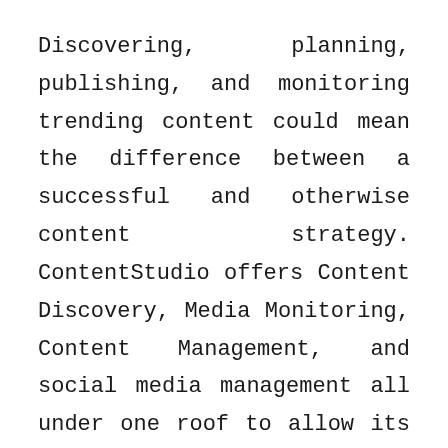Discovering, planning, publishing, and monitoring trending content could mean the difference between a successful and otherwise content strategy. ContentStudio offers Content Discovery, Media Monitoring, Content Management, and social media management all under one roof to allow its users an unfair advantage in the digital marketing arena.
ContentStudio is the perfect Hootsuite alternative. It has all that Hootsuite has to offer and then some at much reasonable price. With the recent addition of a powerful